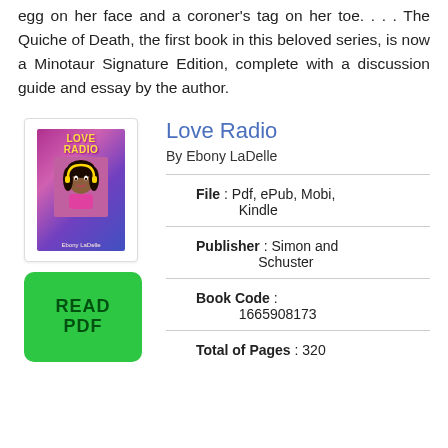egg on her face and a coroner's tag on her toe. . . . The Quiche of Death, the first book in this beloved series, is now a Minotaur Signature Edition, complete with a discussion guide and essay by the author.
Love Radio
By Ebony LaDelle
[Figure (illustration): Book cover of Love Radio with colorful illustration and Read PDF green button]
| File | Pdf, ePub, Mobi, Kindle |
| Publisher | Simon and Schuster |
| Book Code | 1665908173 |
| Total of Pages | 320 |